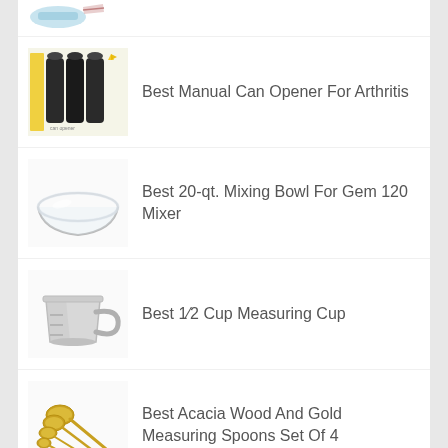[Figure (photo): Partial top image of a kitchen tool, cropped at top of page]
Best Manual Can Opener For Arthritis
Best 20-qt. Mixing Bowl For Gem 120 Mixer
Best 1/2 Cup Measuring Cup
Best Acacia Wood And Gold Measuring Spoons Set Of 4